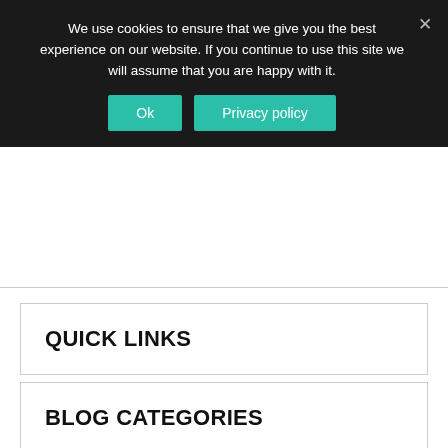We use cookies to ensure that we give you the best experience on our website. If you continue to use this site we will assume that you are happy with it.
Ok  Privacy policy
QUICK LINKS
BLOG CATEGORIES
REQUEST A DEMO